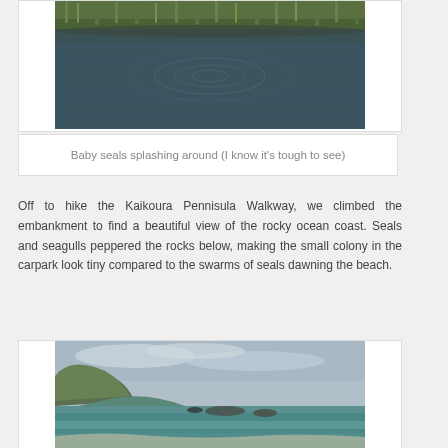[Figure (photo): Photo of water with ripples and green vegetation/reeds in the background, showing baby seals splashing]
Baby seals splashing around (I know it's tough to see)
Off to hike the Kaikoura Pennisula Walkway, we climbed the embankment to find a beautiful view of the rocky ocean coast. Seals and seagulls peppered the rocks below, making the small colony in the carpark look tiny compared to the swarms of seals dawning the beach.
[Figure (photo): Photo of the Kaikoura Peninsula coastline showing rocky ocean coast with green hills and cloudy sky]